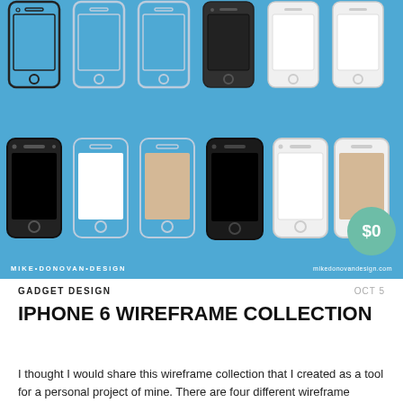[Figure (illustration): iPhone 6 wireframe collection promotional image on blue background showing 12 phone mockups in two rows (outline/black/white/gold variants), with 'MIKE·DONOVAN·DESIGN' branding and mikedonovandesign.com URL, plus a green '$0' price badge.]
GADGET DESIGN
OCT 5
IPHONE 6 WIREFRAME COLLECTION
I thought I would share this wireframe collection that I created as a tool for a personal project of mine. There are four different wireframe mockups of the